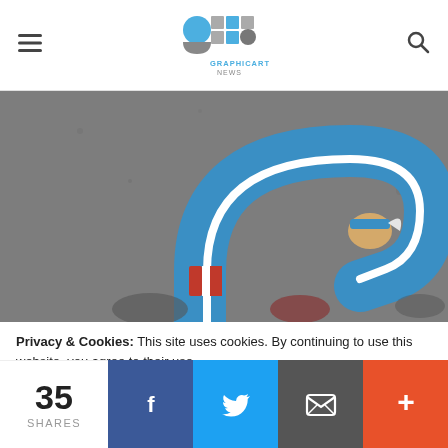Graphicart News logo with hamburger menu and search icon
[Figure (illustration): Captain America themed water tap/faucet illustration on grey background — blue curved pipe with white stripe and red/white striped section at bottom, with Captain America helmet detail]
Privacy & Cookies: This site uses cookies. By continuing to use this website, you agree to their use.
To find out more, including how to control cookies, see here: Cookie Policy
35 SHARES
Facebook share button, Twitter share button, Email share button, More share button